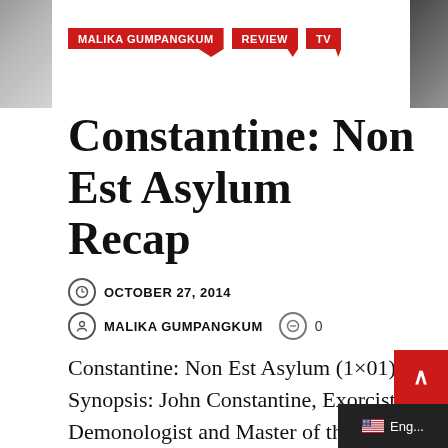MALIKA GUMPANGKUM | REVIEW | TV
Constantine: Non Est Asylum Recap
OCTOBER 27, 2014
MALIKA GUMPANGKUM  0
Constantine: Non Est Asylum (1×01) Synopsis: John Constantine, Exorcist, Demonologist and Master of the Dark Arts, checks out of a mental asylum and travels to Atlanta, GA to protect an old friend's daughter from demons. Meanwhile, he is haunted by...